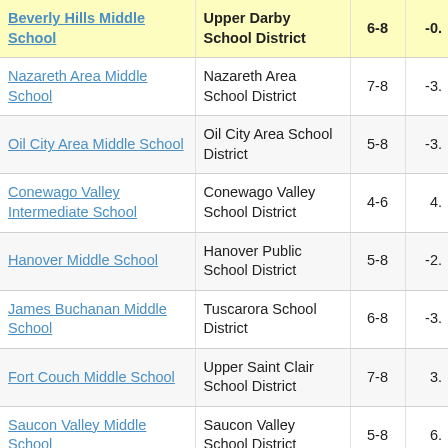| School | District | Grades | Value |
| --- | --- | --- | --- |
| Beverly Hills Middle School | Upper Darby School District | 6-8 | -0. |
| Nazareth Area Middle School | Nazareth Area School District | 7-8 | -3. |
| Oil City Area Middle School | Oil City Area School District | 5-8 | -3. |
| Conewago Valley Intermediate School | Conewago Valley School District | 4-6 | 4. |
| Hanover Middle School | Hanover Public School District | 5-8 | -2. |
| James Buchanan Middle School | Tuscarora School District | 6-8 | -3. |
| Fort Couch Middle School | Upper Saint Clair School District | 7-8 | 3. |
| Saucon Valley Middle School | Saucon Valley School District | 5-8 | 6. |
| Eastern York Middle School | Eastern York... |  |  |